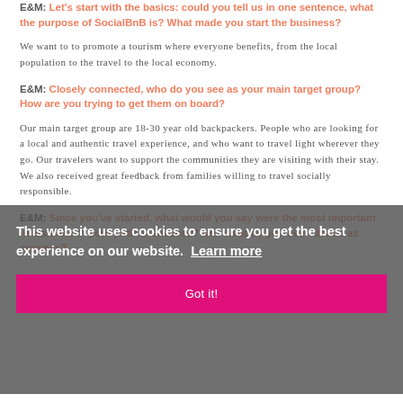E&M: Let's start with the basics: could you tell us in one sentence, what the purpose of SocialBnB is? What made you start the business?
We want to to promote a tourism where everyone benefits, from the local population to the travel to the local economy.
E&M: Closely connected, who do you see as your main target group? How are you trying to get them on board?
Our main target group are 18-30 year old backpackers. People who are looking for a local and authentic travel experience, and who want to travel light wherever they go. Our travelers want to support the communities they are visiting with their stay. We also received great feedback from families willing to travel socially responsible.
E&M: Since you've started, what would you say were the most important milestones in your path to success? And what do you even define as success?
This website uses cookies to ensure you get the best experience on our website. Learn more
Got it!